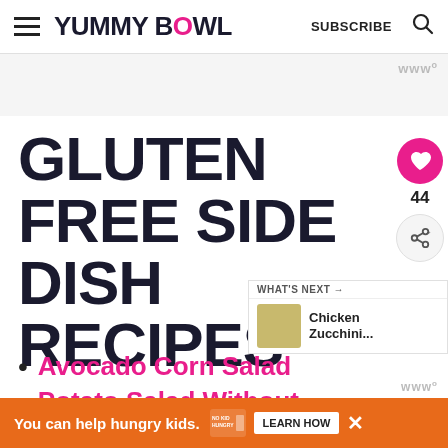YUMMY BOWL | SUBSCRIBE
[Figure (screenshot): Gray advertisement placeholder area with Mediavine logo watermark (www) in top right]
GLUTEN FREE SIDE DISH RECIPES
Potato Salad Without…
Avocado Corn Salad
[Figure (infographic): WHAT'S NEXT panel showing Chicken Zucchini... with thumbnail image]
[Figure (infographic): Bottom orange advertisement bar: You can help hungry kids. No Kid Hungry. LEARN HOW button. Close X button.]